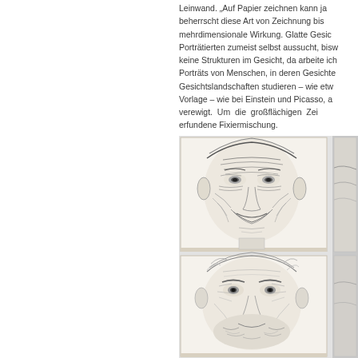Leinwand. „Auf Papier zeichnen kann ja jeder, er beherrscht diese Art von Zeichnung bis hin zur mehrdimensionalen Wirkung. Glatte Gesichter, die der Porträtierten zumeist selbst aussucht, bisweil gebe es keine Strukturen im Gesicht, da arbeite ich lieber an Porträts von Menschen, in deren Gesichtern man die Gesichtslandschaften studieren – wie etwa auch ohne Vorlage – wie bei Einstein und Picasso, also verewigt. Um die großflächigen Zeich erfundene Fixiermischung.
[Figure (photo): Two canvas artworks mounted on a wall showing highly detailed pencil drawings of elderly male faces. The top canvas shows an elderly smiling person with deeply wrinkled face. The bottom canvas shows an older man with expressive eyes and beard. Partially visible artwork on the right edge of the frame.]